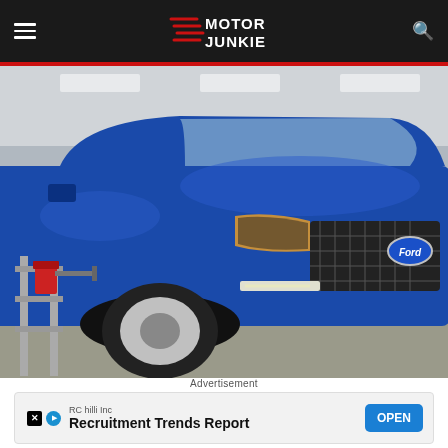Motor Junkie
[Figure (photo): Blue Ford Explorer SUV on a lift in a factory/inspection setting, with testing equipment and a red clamp attached to the front bumper area. Factory lighting overhead.]
Advertisement
[Figure (other): Advertisement banner: RC hilli Inc - Recruitment Trends Report - with an OPEN button. X (Twitter) and podcast play icons on the left side.]